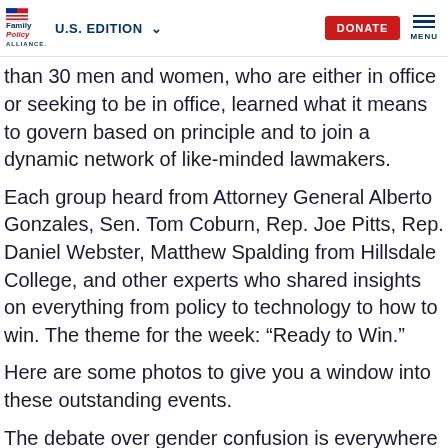Family Policy Alliance | U.S. EDITION | DONATE | MENU
than 30 men and women, who are either in office or seeking to be in office, learned what it means to govern based on principle and to join a dynamic network of like-minded lawmakers.
Each group heard from Attorney General Alberto Gonzales, Sen. Tom Coburn, Rep. Joe Pitts, Rep. Daniel Webster, Matthew Spalding from Hillsdale College, and other experts who shared insights on everything from policy to technology to how to win. The theme for the week: “Ready to Win.”
Here are some photos to give you a window into these outstanding events.
The debate over gender confusion is everywhere right now.